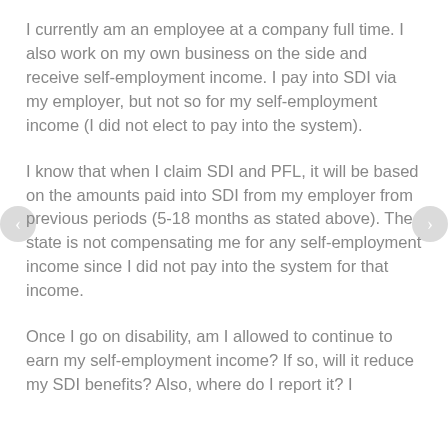I currently am an employee at a company full time. I also work on my own business on the side and receive self-employment income. I pay into SDI via my employer, but not so for my self-employment income (I did not elect to pay into the system).
I know that when I claim SDI and PFL, it will be based on the amounts paid into SDI from my employer from previous periods (5-18 months as stated above). The state is not compensating me for any self-employment income since I did not pay into the system for that income.
Once I go on disability, am I allowed to continue to earn my self-employment income? If so, will it reduce my SDI benefits? Also, where do I report it? I